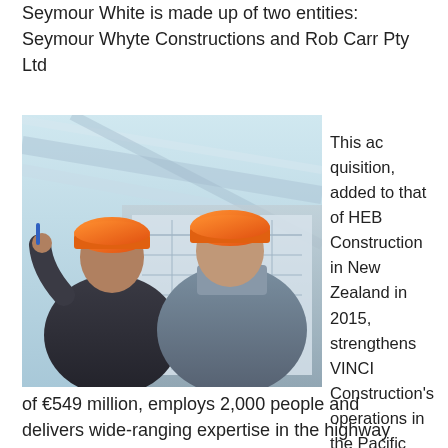Seymour White is made up of two entities: Seymour Whyte Constructions and Rob Carr Pty Ltd
[Figure (photo): Two men wearing orange hard hats viewed from behind, looking up at a construction structure with a bright glass/steel ceiling.]
This acquisition, added to that of HEB Construction in New Zealand in 2015, strengthens VINCI Construction's operations in the Pacific area, where it generated 2016 revenue of €549 million, employs 2,000 people and delivers wide-ranging expertise in the highway construction, civil engineering, soil
of €549 million, employs 2,000 people and delivers wide-ranging expertise in the highway construction, civil engineering, soil